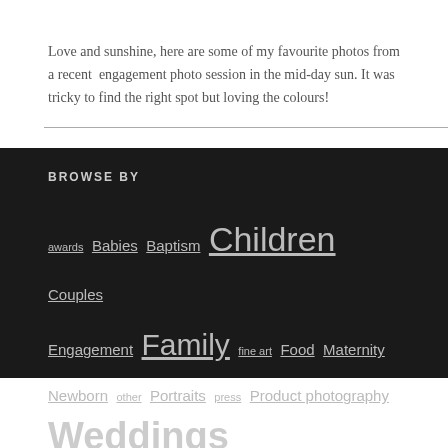Love and sunshine, here are some of my favourite photos from a recent  engagement photo session in the mid-day sun. It was tricky to find the right spot but loving the colours!
BROWSE BY
awards  Babies  Baptism  Children  Couples  Engagement  Family  fine art  Food  Maternity  Newborn  other  Portraits  press  Product photography  Weddings